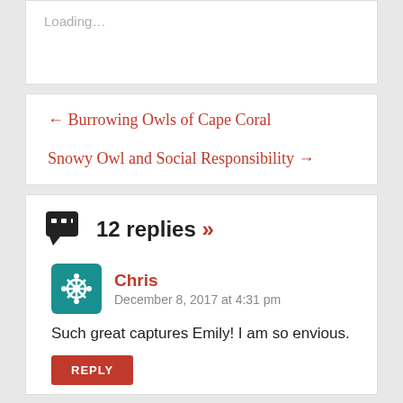Loading...
← Burrowing Owls of Cape Coral
Snowy Owl and Social Responsibility →
12 replies »
Chris
December 8, 2017 at 4:31 pm
Such great captures Emily! I am so envious.